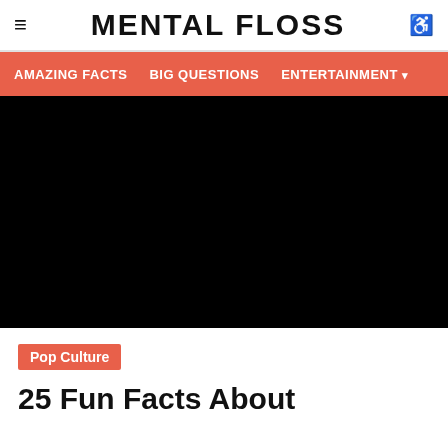≡  MENTAL FLOSS  ♿
AMAZING FACTS  BIG QUESTIONS  ENTERTAINMENT ▾
[Figure (photo): Large black hero image banner]
Pop Culture
25 Fun Facts About